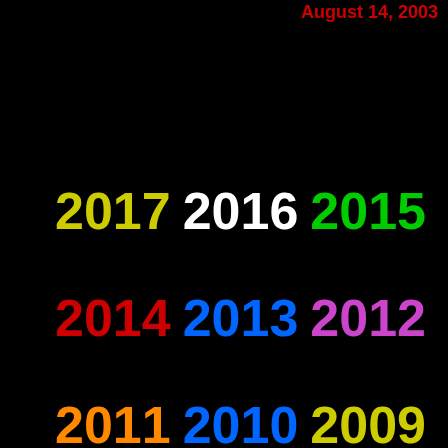August 14, 2003
2017
2016
2015
2014
2013
2012
2011
2010
2009
2008
2007
2006
2005
2004
2003